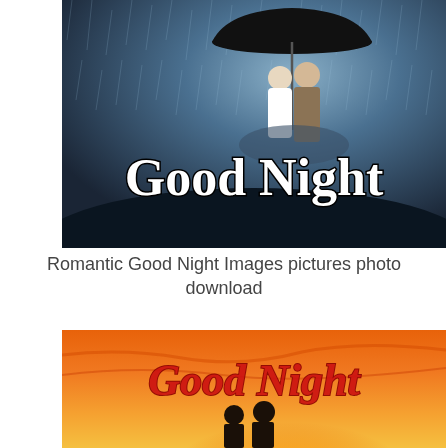[Figure (photo): A romantic photo of a couple kissing under an umbrella in rain with large white bold text 'Good Night' overlaid on a dark rainy background]
Romantic Good Night Images pictures photo download
[Figure (photo): A silhouette of a couple sitting together against a vivid orange and red sunset sky with script text 'Good Night' in red with dark outline overlay]